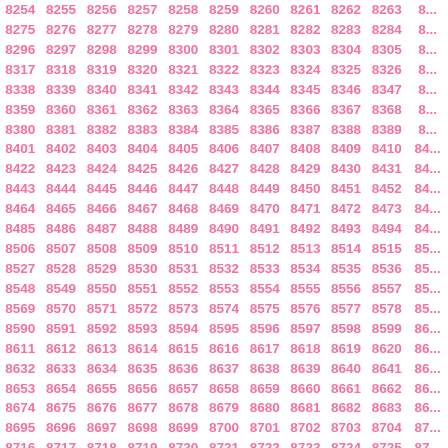| 8254 | 8255 | 8256 | 8257 | 8258 | 8259 | 8260 | 8261 | 8262 | 8263 | 8... |
| 8275 | 8276 | 8277 | 8278 | 8279 | 8280 | 8281 | 8282 | 8283 | 8284 | 8... |
| 8296 | 8297 | 8298 | 8299 | 8300 | 8301 | 8302 | 8303 | 8304 | 8305 | 8... |
| 8317 | 8318 | 8319 | 8320 | 8321 | 8322 | 8323 | 8324 | 8325 | 8326 | 8... |
| 8338 | 8339 | 8340 | 8341 | 8342 | 8343 | 8344 | 8345 | 8346 | 8347 | 8... |
| 8359 | 8360 | 8361 | 8362 | 8363 | 8364 | 8365 | 8366 | 8367 | 8368 | 8... |
| 8380 | 8381 | 8382 | 8383 | 8384 | 8385 | 8386 | 8387 | 8388 | 8389 | 8... |
| 8401 | 8402 | 8403 | 8404 | 8405 | 8406 | 8407 | 8408 | 8409 | 8410 | 8... |
| 8422 | 8423 | 8424 | 8425 | 8426 | 8427 | 8428 | 8429 | 8430 | 8431 | 8... |
| 8443 | 8444 | 8445 | 8446 | 8447 | 8448 | 8449 | 8450 | 8451 | 8452 | 8... |
| 8464 | 8465 | 8466 | 8467 | 8468 | 8469 | 8470 | 8471 | 8472 | 8473 | 8... |
| 8485 | 8486 | 8487 | 8488 | 8489 | 8490 | 8491 | 8492 | 8493 | 8494 | 8... |
| 8506 | 8507 | 8508 | 8509 | 8510 | 8511 | 8512 | 8513 | 8514 | 8515 | 8... |
| 8527 | 8528 | 8529 | 8530 | 8531 | 8532 | 8533 | 8534 | 8535 | 8536 | 8... |
| 8548 | 8549 | 8550 | 8551 | 8552 | 8553 | 8554 | 8555 | 8556 | 8557 | 8... |
| 8569 | 8570 | 8571 | 8572 | 8573 | 8574 | 8575 | 8576 | 8577 | 8578 | 8... |
| 8590 | 8591 | 8592 | 8593 | 8594 | 8595 | 8596 | 8597 | 8598 | 8599 | 8... |
| 8611 | 8612 | 8613 | 8614 | 8615 | 8616 | 8617 | 8618 | 8619 | 8620 | 8... |
| 8632 | 8633 | 8634 | 8635 | 8636 | 8637 | 8638 | 8639 | 8640 | 8641 | 8... |
| 8653 | 8654 | 8655 | 8656 | 8657 | 8658 | 8659 | 8660 | 8661 | 8662 | 8... |
| 8674 | 8675 | 8676 | 8677 | 8678 | 8679 | 8680 | 8681 | 8682 | 8683 | 8... |
| 8695 | 8696 | 8697 | 8698 | 8699 | 8700 | 8701 | 8702 | 8703 | 8704 | 8... |
| 8716 | 8717 | 8718 | 8719 | 8720 | 8721 | 8722 | 8723 | 8724 | 8725 | 8... |
| 8737 | 8738 | 8739 | 8740 | 8741 | 8742 | 8743 | 8744 | 8745 | 8746 | 8... |
| 8758 | 8759 | 8760 | 8761 | 8762 | 8763 | 8764 | 8765 | 8766 | 8767 | 8... |